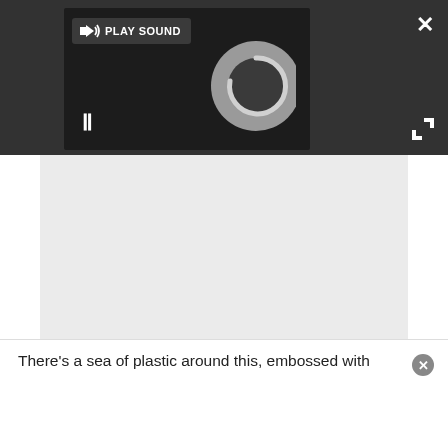[Figure (screenshot): Dark media player UI with a 'PLAY SOUND' button (speaker icon), a pause button (||), and a spinning/loading circular disc graphic on a dark background. An X close button is at top right. An expand/fullscreen icon appears at right.]
[Figure (screenshot): Light gray content area below the media player, representing a media or image loading area.]
Up close, the cups look a little crowded. There's a disc of fake wood surrounded by a ring of dotted plastic, bordered by a ring that looks like it's been inlaid with tiny crystals (but is actually a metal grille).
There's a sea of plastic around this, embossed with